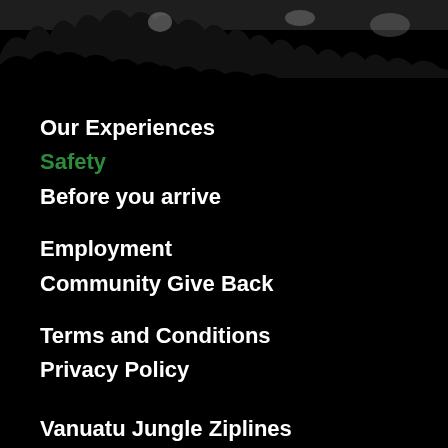[Figure (photo): Black and white silhouette of jungle/forest treetops against a light sky at the top of the page]
Our Experiences
Safety
Before you arrive
Employment
Community Give Back
Terms and Conditions
Privacy Policy
Vanuatu Jungle Ziplines